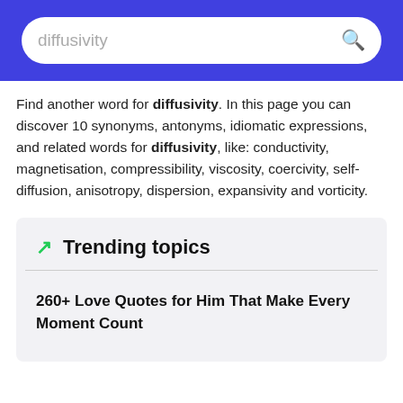[Figure (screenshot): Search bar with text 'diffusivity' and a search icon on a blue header background]
Find another word for diffusivity. In this page you can discover 10 synonyms, antonyms, idiomatic expressions, and related words for diffusivity, like: conductivity, magnetisation, compressibility, viscosity, coercivity, self-diffusion, anisotropy, dispersion, expansivity and vorticity.
Trending topics
260+ Love Quotes for Him That Make Every Moment Count